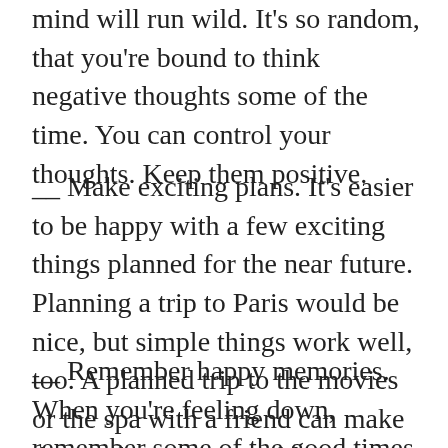mind will run wild. It's so random, that you're bound to think negative thoughts some of the time. You can control your thoughts. Keep them positive.
__ Make exciting plans. It's easier to be happy with a few exciting things planned for the near future. Planning a trip to Paris would be nice, but simple things work well, too. A planned trip to the movies or the spa with a friend can make the week more enjoyable. Have something you can look forward to each week.
__ Remember happy memories. When you're feeling down, remember some of the good times you've had. Spend a few minutes remembering your senior prom or